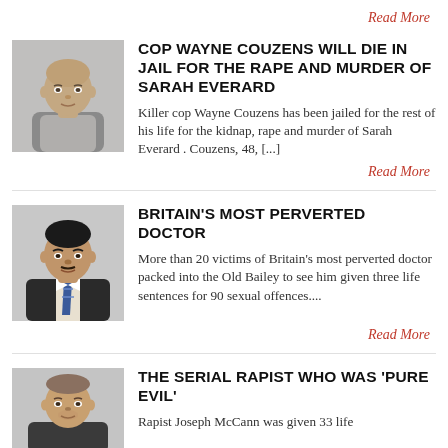Read More
[Figure (photo): Mugshot/headshot of Wayne Couzens, a bald white male in a grey shirt]
COP WAYNE COUZENS WILL DIE IN JAIL FOR THE RAPE AND MURDER OF SARAH EVERARD
Killer cop Wayne Couzens has been jailed for the rest of his life for the kidnap, rape and murder of Sarah Everard . Couzens, 48, [...]
Read More
[Figure (photo): Headshot of a South Asian male doctor in a suit with tie]
BRITAIN'S MOST PERVERTED DOCTOR
More than 20 victims of Britain's most perverted doctor packed into the Old Bailey to see him given three life sentences for 90 sexual offences....
Read More
[Figure (photo): Headshot of Joseph McCann, a white male with short hair and stubble]
THE SERIAL RAPIST WHO WAS 'PURE EVIL'
Rapist Joseph McCann was given 33 life